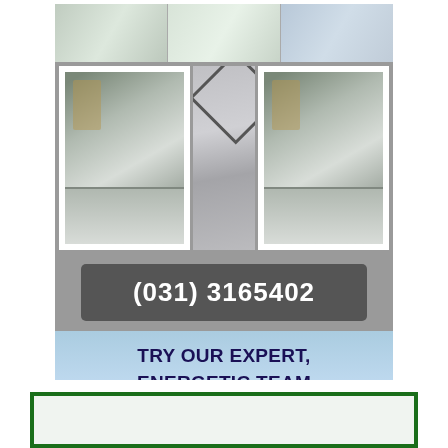[Figure (infographic): Real estate / home renovation advertisement showing kitchen photos, phone number (031) 3165402, and call-to-action 'TRY OUR EXPERT, ENERGETIC TEAM']
(031) 3165402
TRY OUR EXPERT, ENERGETIC TEAM